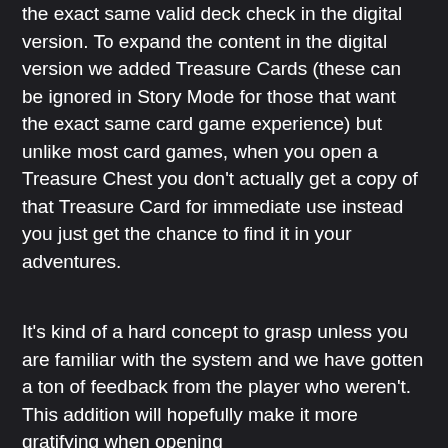the exact same valid deck check in the digital version. To expand the content in the digital version we added Treasure Cards (these can be ignored in Story Mode for those that want the exact same card game experience) but unlike most card games, when you open a Treasure Chest you don't actually get a copy of that Treasure Card for immediate use instead you just get the chance to find it in your adventures.
It's kind of a hard concept to grasp unless you are familiar with the system and we have gotten a ton of feedback from the player who weren't. This addition will hopefully make it more gratifying when opening